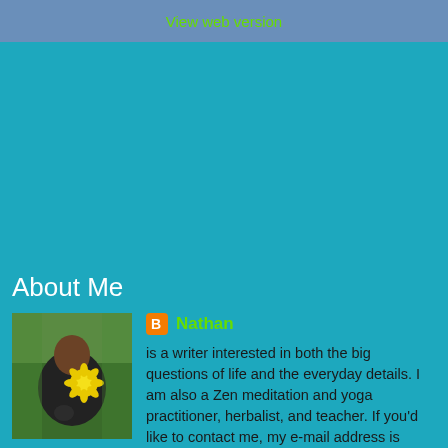View web version
About Me
[Figure (photo): Profile photo of Nathan, a person holding a yellow flower in front of trees]
Nathan
is a writer interested in both the big questions of life and the everyday details. I am also a Zen meditation and yoga practitioner, herbalist, and teacher. If you'd like to contact me, my e-mail address is